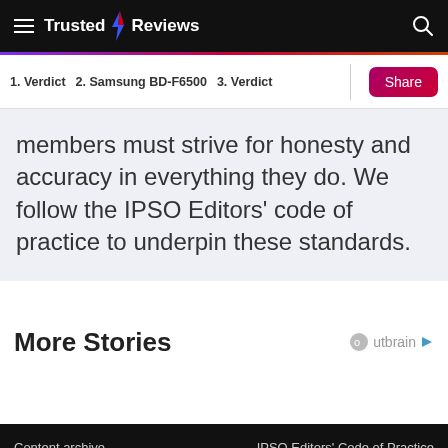Trusted Reviews
1. Verdict  2. Samsung BD-F6500  3. Verdict
members must strive for honesty and accuracy in everything they do. We follow the IPSO Editors' code of practice to underpin these standards.
More Stories
Content archive   IPSO Editors' Code of Practice